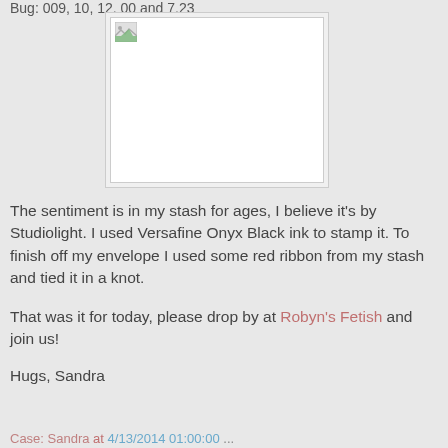Bug: 009, 10, 12, 00 and 7.23
[Figure (photo): Placeholder broken image box with small broken image icon in top-left corner]
The sentiment is in my stash for ages, I believe it's by Studiolight. I used Versafine Onyx Black ink to stamp it. To finish off my envelope I used some red ribbon from my stash and tied it in a knot.
That was it for today, please drop by at Robyn's Fetish and join us!
Hugs, Sandra
Case: Sandra at 4/13/2014 01:00:00 ...